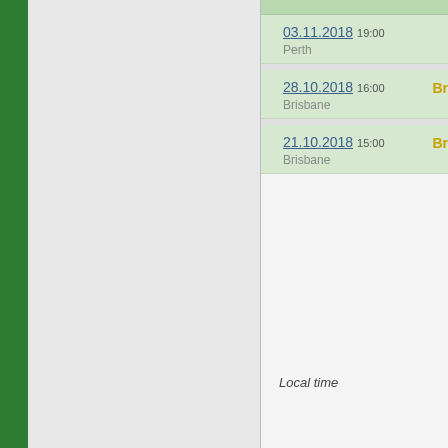| Date | Time | Location | Info |
| --- | --- | --- | --- |
| 03.11.2018 | 19:00 | Perth |  |
| 28.10.2018 | 16:00 | Brisbane | Br... |
| 21.10.2018 | 15:00 | Brisbane | Br... |
Local time